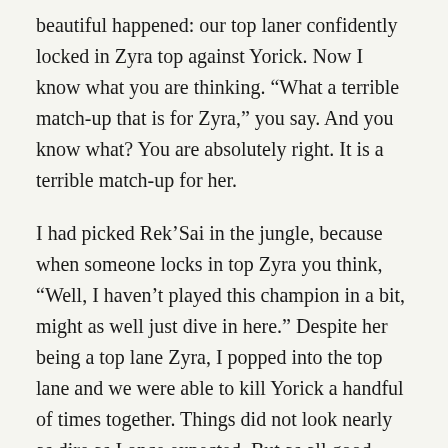beautiful happened: our top laner confidently locked in Zyra top against Yorick. Now I know what you are thinking. “What a terrible match-up that is for Zyra,” you say. And you know what? You are absolutely right. It is a terrible match-up for her.
I had picked Rek’Sai in the jungle, because when someone locks in top Zyra you think, “Well, I haven’t played this champion in a bit, might as well just dive in here.” Despite her being a top lane Zyra, I popped into the top lane and we were able to kill Yorick a handful of times together. Things did not look nearly as dire as I once expected. But as all good things in a game with Yorick, my hope for victory faded away at about the 15 minute mark.